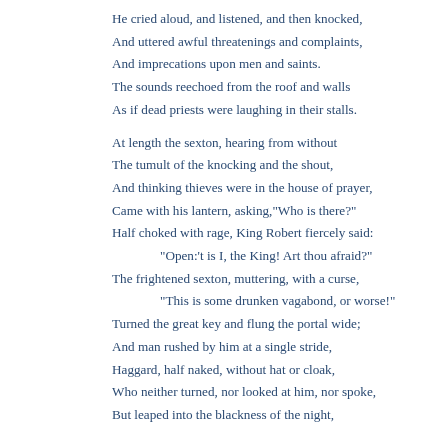He cried aloud, and listened, and then knocked,
And uttered awful threatenings and complaints,
And imprecations upon men and saints.
The sounds reechoed from the roof and walls
As if dead priests were laughing in their stalls.

At length the sexton, hearing from without
The tumult of the knocking and the shout,
And thinking thieves were in the house of prayer,
Came with his lantern, asking,"Who is there?"
Half choked with rage, King Robert fiercely said:
      "Open:'t is I, the King! Art thou afraid?"
The frightened sexton, muttering, with a curse,
      "This is some drunken vagabond, or worse!"
Turned the great key and flung the portal wide;
And man rushed by him at a single stride,
Haggard, half naked, without hat or cloak,
Who neither turned, nor looked at him, nor spoke,
But leaped into the blackness of the night,